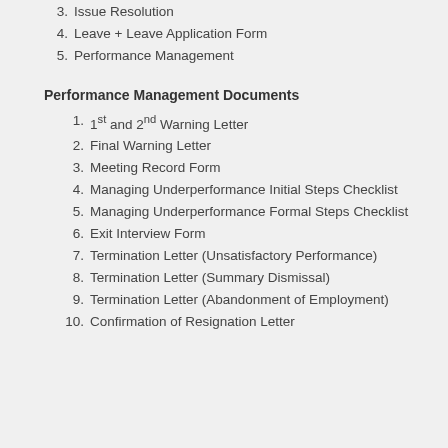3. Issue Resolution
4. Leave + Leave Application Form
5. Performance Management
Performance Management Documents
1. 1st and 2nd Warning Letter
2. Final Warning Letter
3. Meeting Record Form
4. Managing Underperformance Initial Steps Checklist
5. Managing Underperformance Formal Steps Checklist
6. Exit Interview Form
7. Termination Letter (Unsatisfactory Performance)
8. Termination Letter (Summary Dismissal)
9. Termination Letter (Abandonment of Employment)
10. Confirmation of Resignation Letter